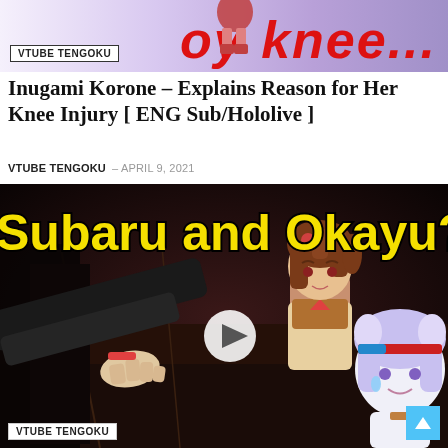[Figure (screenshot): Top banner image with anime character and red stylized text partially visible]
VTUBE TENGOKU
Inugami Korone – Explains Reason for Her Knee Injury [ ENG Sub/Hololive ]
VTUBE TENGOKU – APRIL 9, 2021
[Figure (screenshot): YouTube video thumbnail showing anime VTuber characters with yellow bold text 'Subaru and Okayu???' and a play button overlay. Shows characters from Hololive VTuber group.]
VTUBE TENGOKU